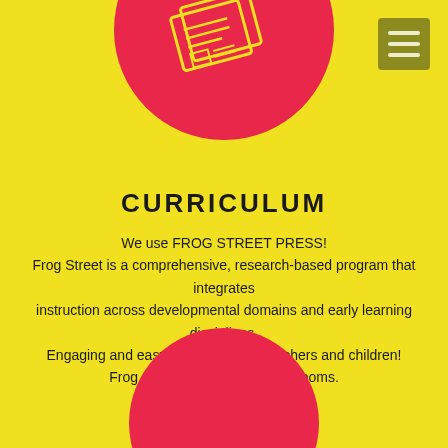[Figure (illustration): Pink circle with book/newspaper icon containing line art of pages]
[Figure (illustration): Olive/dark yellow square button with three horizontal white lines (hamburger menu icon)]
CURRICULUM
We use FROG STREET PRESS!
Frog Street is a comprehensive, research-based program that integrates instruction across developmental domains and early learning disciplines.
Engaging and easy to use for both teachers and children!
Frog Street is used in all classrooms.
[Figure (illustration): Pink circle partially visible at the bottom of the page]